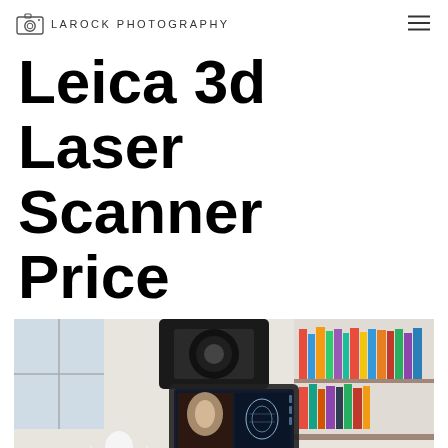LAROCK PHOTOGRAPHY
Leica 3d Laser Scanner Price
[Figure (photo): A person holding a handheld 3D scanner device aimed at a white angel figurine on a wooden table. A smartphone attached to the scanner displays the 3D scanning interface showing the object being scanned. Bookshelves with colorful books are visible in the background.]